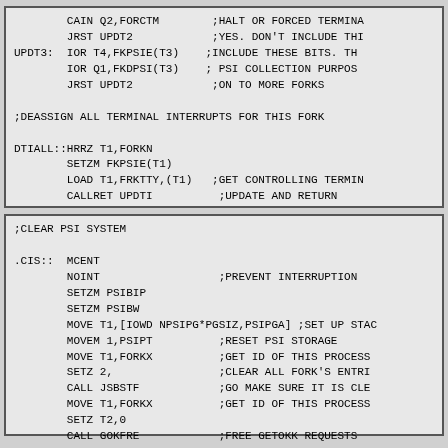CAIN Q2,FORCTM ;HALT OR FORCED TERMINA
        JRST UPDT2             ;YES. DON'T INCLUDE THI
UPDT3:  IOR T4,FKPSIE(T3)     ;INCLUDE THESE BITS. TH
        IOR Q1,FKDPSI(T3)     ; PSI COLLECTION PURPOS
        JRST UPDT2            ;ON TO MORE FORKS

;DEASSIGN ALL TERMINAL INTERRUPTS FOR THIS FORK

DTIALL::HRRZ T1,FORKN
        SETZM FKPSIE(T1)
        LOAD T1,FRKTTY,(T1)   ;GET CONTROLLING TERMIN
        CALLRET UPDTI          ;UPDATE AND RETURN
;CLEAR PSI SYSTEM

.CIS::  MCENT
        NOINT                  ;PREVENT INTERRUPTION
        SETZM PSIBIP
        SETZM PSIBW
        MOVE T1,[IOWD NPSIPG*PGSIZ,PSIPGA] ;SET UP STAC
        MOVEM 1,PSIPT          ;RESET PSI STORAGE
        MOVE T1,FORKX          ;GET ID OF THIS PROCESS
        SETZ 2,                ;CLEAR ALL FORK'S ENTRI
        CALL JSBSTF            ;GO MAKE SURE IT IS CLE
        MOVE T1,FORKX          ;GET ID OF THIS PROCESS
        SETZ T2,0
        CALL GOKFRE            ;FREE GETOKK REQUESTS
        OKINT                  ;ALLOW INTS NOW
        JRST MRETN